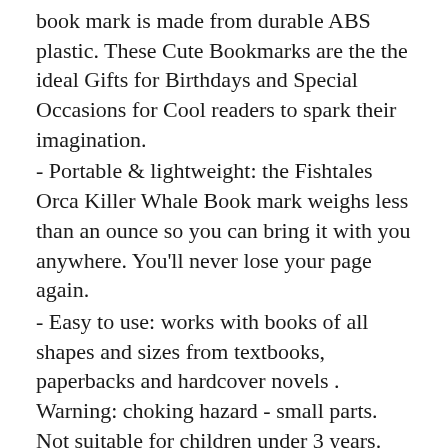book mark is made from durable ABS plastic. These Cute Bookmarks are the the ideal Gifts for Birthdays and Special Occasions for Cool readers to spark their imagination.
- Portable & lightweight: the Fishtales Orca Killer Whale Book mark weighs less than an ounce so you can bring it with you anywhere. You'll never lose your page again.
- Easy to use: works with books of all shapes and sizes from textbooks, paperbacks and hardcover novels . Warning: choking hazard - small parts. Not suitable for children under 3 years.
- Excellent gift idea: want to make a awesome impression? The unique design makes it perfect for friends, family or loved ones who have a love for the ocean, nature and whales.